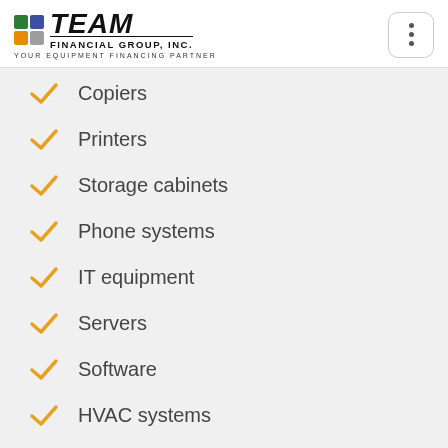TEAM FINANCIAL GROUP, INC. — YOUR EQUIPMENT FINANCING PARTNER
Copiers
Printers
Storage cabinets
Phone systems
IT equipment
Servers
Software
HVAC systems
Solar panels